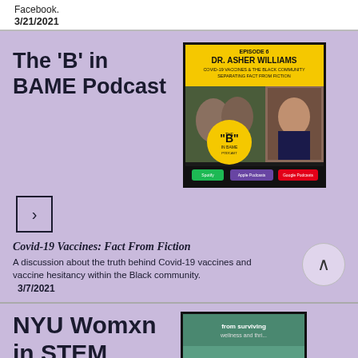Facebook.
3/21/2021
The 'B' in BAME Podcast
[Figure (photo): Podcast cover art for 'The B in BAME Podcast', Episode 6 with Dr. Asher Williams - Covid-19 Vaccines & The Black Community: Separating Fact From Fiction. Yellow header with black text, photo of two people and a woman in a blazer, yellow circular logo in center, streaming platform logos at bottom.]
>
Covid-19 Vaccines: Fact From Fiction
A discussion about the truth behind Covid-19 vaccines and vaccine hesitancy within the Black community.
3/7/2021
NYU Womxn in STEM
[Figure (photo): Podcast or event cover art for NYU Womxn in STEM, partially visible, teal/green background with text and a person's photo.]